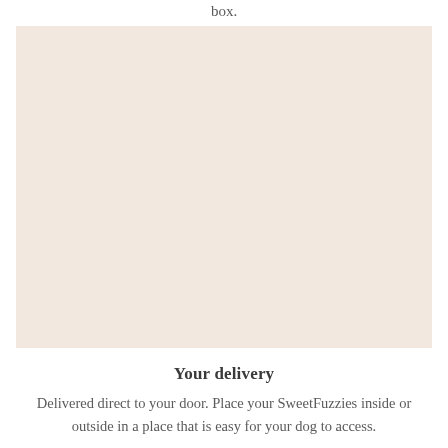box.
[Figure (illustration): A large rectangular block with a warm beige/cream background color, serving as a placeholder image area.]
Your delivery
Delivered direct to your door. Place your SweetFuzzies inside or outside in a place that is easy for your dog to access.